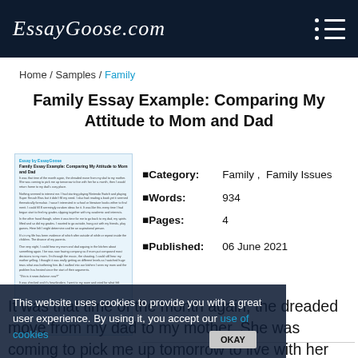EssayGoose.com
Home / Samples / Family
Family Essay Example: Comparing My Attitude to Mom and Dad
[Figure (screenshot): Thumbnail preview of the essay document with small text]
| Field | Value |
| --- | --- |
| Category: | Family, Family Issues |
| Words: | 934 |
| Pages: | 4 |
| Published: | 06 June 2021 |
This website uses cookies to provide you with a great user experience. By using it, you accept our use of cookies
It was that time of the month again; the dreaded move from my dad to my mother. She was coming to pick me up tomorrow to live with her for a month, then I would return